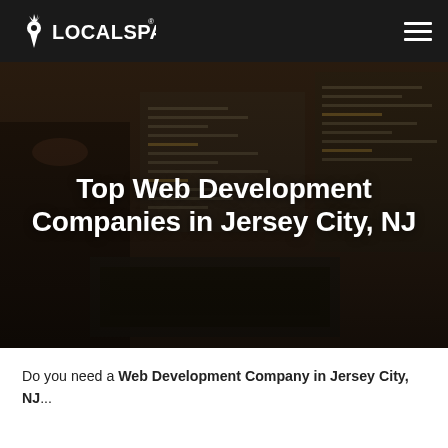LOCALSPARK
[Figure (photo): Dark-tinted hero photo of a person working at a desk with a laptop and multiple monitors showing code/development work]
Top Web Development Companies in Jersey City, NJ
Do you need a Web Development Company in Jersey City, NJ...